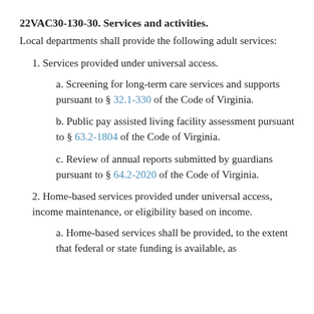22VAC30-130-30. Services and activities.
Local departments shall provide the following adult services:
1. Services provided under universal access.
a. Screening for long-term care services and supports pursuant to § 32.1-330 of the Code of Virginia.
b. Public pay assisted living facility assessment pursuant to § 63.2-1804 of the Code of Virginia.
c. Review of annual reports submitted by guardians pursuant to § 64.2-2020 of the Code of Virginia.
2. Home-based services provided under universal access, income maintenance, or eligibility based on income.
a. Home-based services shall be provided, to the extent that federal or state funding is available, as